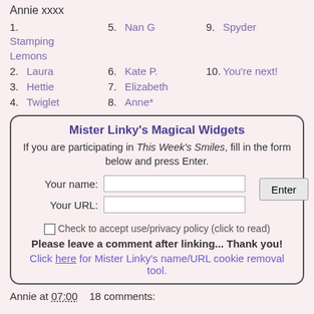Annie xxxx
1. Stamping Lemons
2. Laura
3. Hettie
4. Twiglet
5. Nan G
6. Kate P.
7. Elizabeth
8. Anne*
9. Spyder
10. You're next!
Mister Linky's Magical Widgets
If you are participating in This Week's Smiles, fill in the form below and press Enter.
Your name: [input] Enter
Your URL: [input]
Check to accept use/privacy policy (click to read)
Please leave a comment after linking... Thank you!
Click here for Mister Linky's name/URL cookie removal tool.
Annie at 07:00    18 comments: